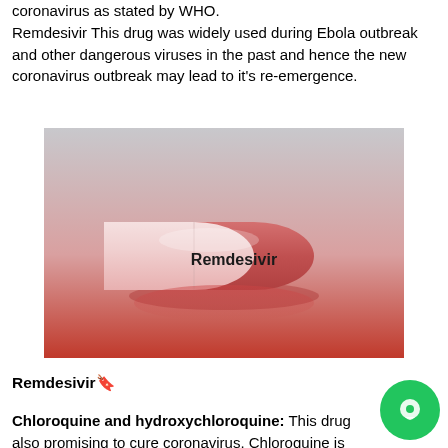coronavirus as stated by WHO.
Remdesivir This drug was widely used during Ebola outbreak and other dangerous viruses in the past and hence the new coronavirus outbreak may lead to it's re-emergence.
[Figure (photo): A pink and white capsule pill labeled 'Remdesivir' sitting on a red-to-white gradient surface against a grey background.]
Remdesivir🔖
Chloroquine and hydroxychloroquine: This drug also promising to cure coronavirus. Chloroquine is widely